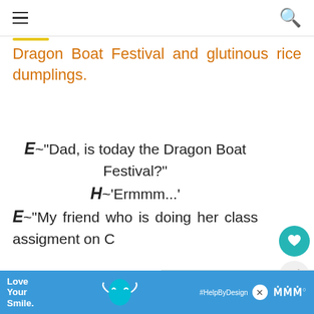≡   🔍
Dragon Boat Festival and glutinous rice dumplings.
E~"Dad, is today the Dragon Boat Festival?"
H~'Ermmm...'
E~"My friend who is doing her class assigment on C... said today is the Dragon Boat
[Figure (other): WHAT'S NEXT panel with thumbnail image and text Pulut Udang/ Charred...]
[Figure (other): Advertisement banner: Love Your Smile. #HelpByDesign with dental brand logo]